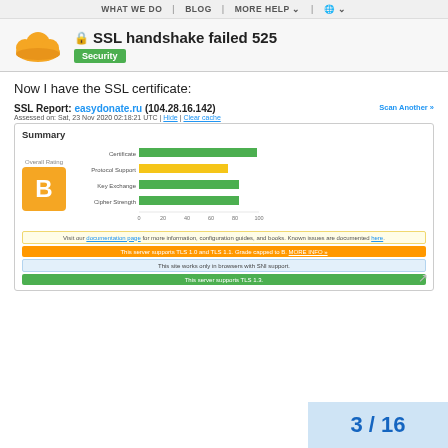WHAT WE DO | BLOG | MORE HELP | (globe)
SSL handshake failed 525
Security
Now I have the SSL certificate:
SSL Report: easydonate.ru (104.28.16.142)
Assessed on: Sat, 23 Nov 2020 02:18:21 UTC | Hide | Clear cache
Scan Another »
[Figure (screenshot): SSL Labs Summary panel showing Overall Rating B grade in orange box, and horizontal bar chart with Certificate (green, ~100), Protocol Support (yellow/green, ~75), Key Exchange (green, ~85), Cipher Strength (green, ~85) out of 100. Below are four info bars: yellow (documentation link), orange (TLS 1.0 and 1.1 warning), blue (SNI support note), green (TLS 1.3 support).]
3 / 16